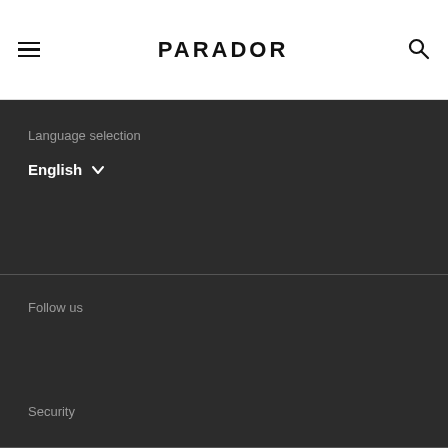PARADOR
Language selection
English
Follow us
Security